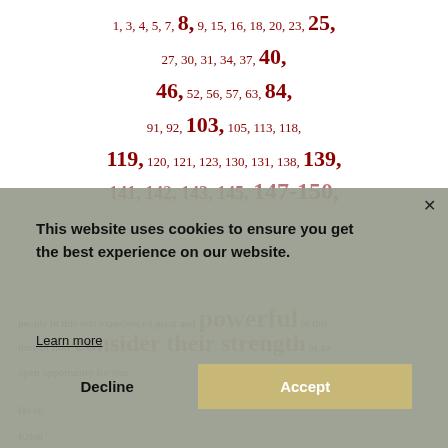1, 3, 4, 5, 7, 8, 9, 15, 16, 18, 20, 23, 25, 27, 30, 31, 34, 37, 40, 46, 52, 56, 57, 63, 84, 91, 92, 103, 105, 113, 118, 119, 120, 121, 123, 130, 131, 138, 139, 141, 142, 143, 145, 147-150,
people in this text experienced great and powerful in this time of now consider their strength as an open opportunity for you.
He is,
Kristi
This website uses cookies to ensure you get the best experience on our website.
Learn more
Decline
Accept